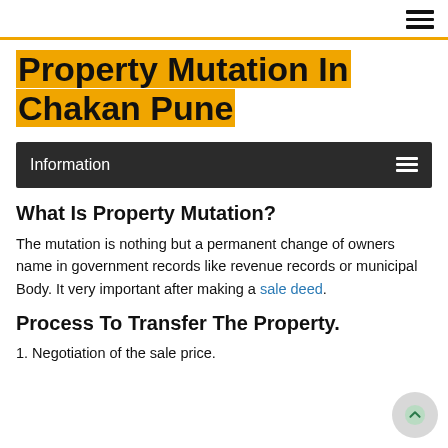≡
Property Mutation In Chakan Pune
Information
What Is Property Mutation?
The mutation is nothing but a permanent change of owners name in government records like revenue records or municipal Body. It very important after making a sale deed.
Process To Transfer The Property.
1. Negotiation of the sale price.